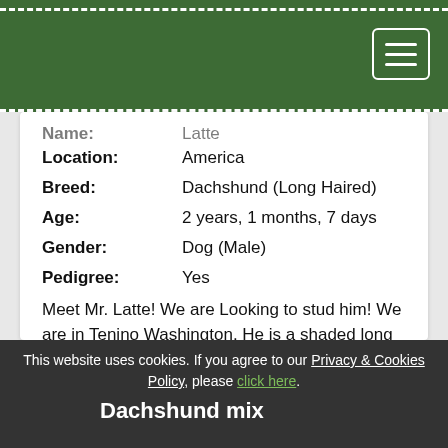| Field | Value |
| --- | --- |
| Location: | America |
| Breed: | Dachshund (Long Haired) |
| Age: | 2 years, 1 months, 7 days |
| Gender: | Dog (Male) |
| Pedigree: | Yes |
Meet Mr. Latte! We are Looking to stud him! We are in Tenino Washington. He is a shaded long hair cream dachshund. AKC Registered. We...
Read More
This website uses cookies. If you agree to our Privacy & Cookies Policy, please click here.
Dachshund mix